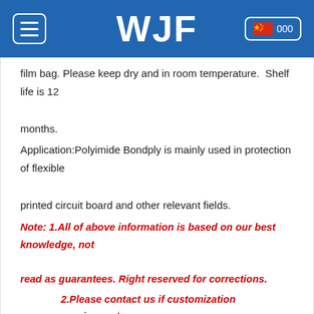WJF
film bag. Please keep dry and in room temperature.  Shelf life is 12 months.
Application:Polyimide Bondply is mainly used in protection of flexible printed circuit board and other relevant fields.
Note: 1.All of above information is based on our best knowledge, not read as guarantees. Right reserved for corrections.
2.Please contact us if customization requirements.
Prev : Black Polyimide Coverlay
Next : Polyimide Film Adhesive Tape
2021-03-18  1809